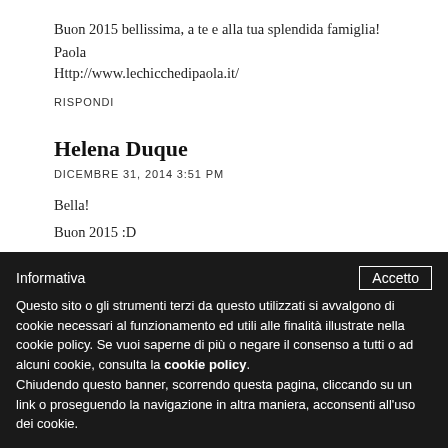Buon 2015 bellissima, a te e alla tua splendida famiglia!
Paola
Http://www.lechicchedipaola.it/
RISPONDI
Helena Duque
DICEMBRE 31, 2014 3:51 PM
Bella!
Buon 2015 :D
Informativa
Questo sito o gli strumenti terzi da questo utilizzati si avvalgono di cookie necessari al funzionamento ed utili alle finalità illustrate nella cookie policy. Se vuoi saperne di più o negare il consenso a tutti o ad alcuni cookie, consulta la cookie policy. Chiudendo questo banner, scorrendo questa pagina, cliccando su un link o proseguendo la navigazione in altra maniera, acconsenti all'uso dei cookie.
Accetto